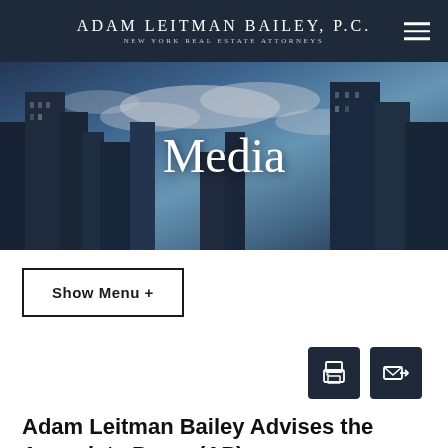ADAM LEITMAN BAILEY, P.C. — NEW YORK REAL ESTATE ATTORNEYS
[Figure (photo): Hero banner photo of skyscrapers viewed from below against a blue sky with clouds, with 'Media' text overlay in white serif font]
Media
Show Menu +
[Figure (illustration): Print icon button (white printer icon on dark navy background)]
[Figure (illustration): Email/forward icon button (white envelope with arrow icon on dark navy background)]
Adam Leitman Bailey Advises the Associate Press (AP) on a Cooperative Question Involving a Person Running